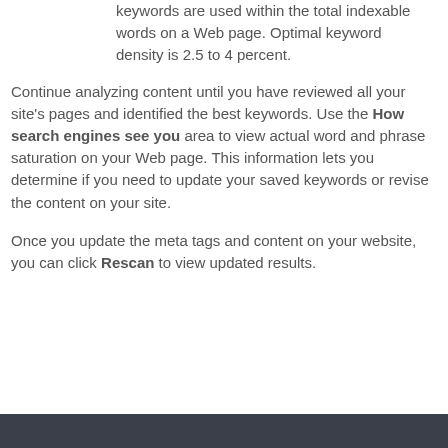keywords are used within the total indexable words on a Web page. Optimal keyword density is 2.5 to 4 percent.
Continue analyzing content until you have reviewed all your site's pages and identified the best keywords. Use the How search engines see you area to view actual word and phrase saturation on your Web page. This information lets you determine if you need to update your saved keywords or revise the content on your site.
Once you update the meta tags and content on your website, you can click Rescan to view updated results.